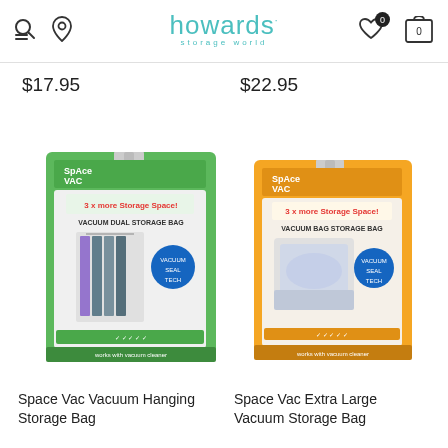howards storage world
$17.95
$22.95
[Figure (photo): Space Vac Vacuum Hanging Storage Bag product box with green packaging showing hanging clothes inside vacuum bag, labelled '3x more storage space']
[Figure (photo): Space Vac Extra Large Vacuum Storage Bag product box with orange/yellow packaging showing bedding inside vacuum bag, labelled '3x more storage space']
Space Vac Vacuum Hanging Storage Bag
Space Vac Extra Large Vacuum Storage Bag